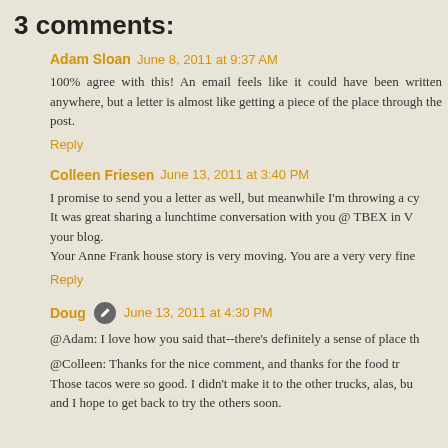3 comments:
Adam Sloan  June 8, 2011 at 9:37 AM
100% agree with this! An email feels like it could have been written anywhere, but a letter is almost like getting a piece of the place through the post.
Reply
Colleen Friesen  June 13, 2011 at 3:40 PM
I promise to send you a letter as well, but meanwhile I'm throwing a cy... It was great sharing a lunchtime conversation with you @ TBEX in V... your blog.
Your Anne Frank house story is very moving. You are a very very fine...
Reply
Doug  June 13, 2011 at 4:30 PM
@Adam: I love how you said that--there's definitely a sense of place th...
@Colleen: Thanks for the nice comment, and thanks for the food tr... Those tacos were so good. I didn't make it to the other trucks, alas, bu... and I hope to get back to try the others soon.